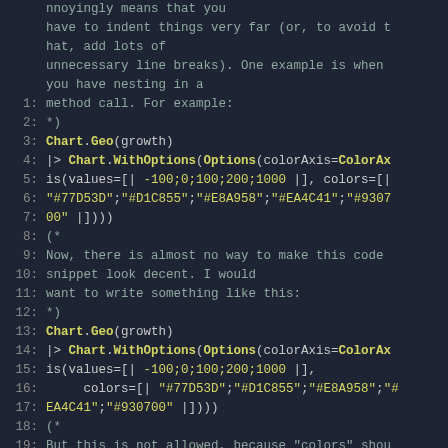Code snippet showing F# chart code with comments explaining indentation issues and color axis options. Lines 1-23 visible.